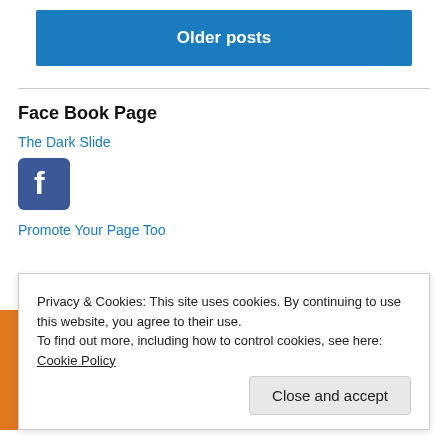Older posts
Face Book Page
The Dark Slide
[Figure (logo): Facebook logo icon — white 'f' on blue rounded square background]
Promote Your Page Too
Privacy & Cookies: This site uses cookies. By continuing to use this website, you agree to their use.
To find out more, including how to control cookies, see here: Cookie Policy
Close and accept